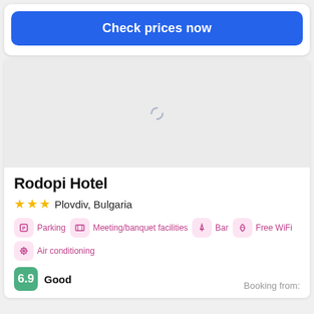[Figure (screenshot): Blue 'Check prices now' button]
[Figure (photo): Hotel image placeholder with loading spinner]
Rodopi Hotel
★★★  Plovdiv, Bulgaria
Parking  Meeting/banquet facilities  Bar  Free WiFi  Air conditioning
6.9  Good  Booking from: